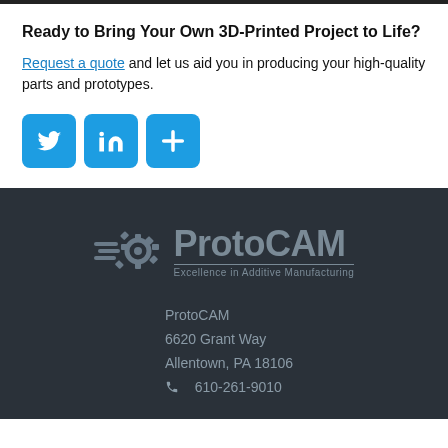Ready to Bring Your Own 3D-Printed Project to Life?
Request a quote and let us aid you in producing your high-quality parts and prototypes.
[Figure (other): Social media sharing buttons: Twitter, LinkedIn, and a generic share button, all in blue rounded squares]
[Figure (logo): ProtoCAM logo with gear icon and tagline 'Excellence in Additive Manufacturing']
ProtoCAM
6620 Grant Way
Allentown, PA 18106
☎ 610-261-9010